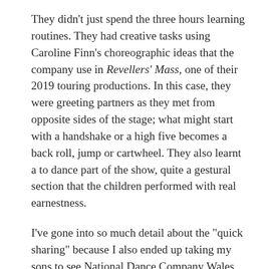They didn't just spend the three hours learning routines. They had creative tasks using Caroline Finn's choreographic ideas that the company use in Revellers' Mass, one of their 2019 touring productions. In this case, they were greeting partners as they met from opposite sides of the stage; what might start with a handshake or a high five becomes a back roll, jump or cartwheel. They also learnt a to dance part of the show, quite a gestural section that the children performed with real earnestness.
I've gone into so much detail about the "quick sharing" because I also ended up taking my sons to see National Dance Company Wales perform Awakening, their spring tour at Sherman Theatre, Cardiff. I'd been regretful about my possibly optimistic plan to take them to a night of three contemporary dance works. On the train. For the evening show. They were being boisterous but I'd paid my money so